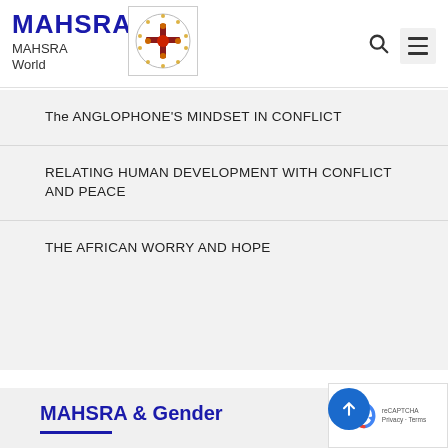MAHSRA
MAHSRA
World
The ANGLOPHONE'S MINDSET IN CONFLICT
RELATING HUMAN DEVELOPMENT WITH CONFLICT AND PEACE
THE AFRICAN WORRY AND HOPE
MAHSRA & Gender